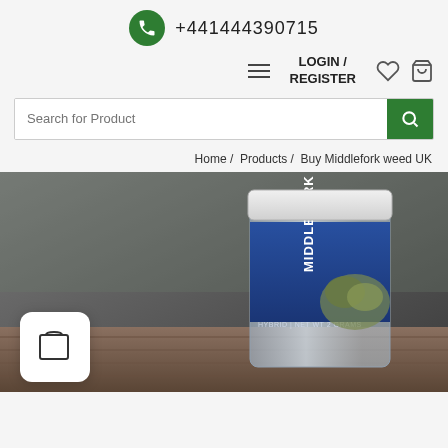+441444390715
LOGIN / REGISTER
Search for Product
Home / Products / Buy Middlefork weed UK
[Figure (photo): A glass jar labeled 'MIDDLEFORK HYBRID | NET WT 2 GRAMS' containing cannabis buds, placed on a wooden surface with blurred background. A shopping bag overlay icon appears in the bottom left corner.]